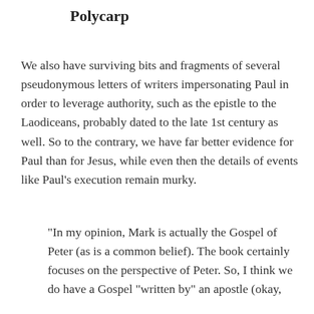Polycarp
We also have surviving bits and fragments of several pseudonymous letters of writers impersonating Paul in order to leverage authority, such as the epistle to the Laodiceans, probably dated to the late 1st century as well. So to the contrary, we have far better evidence for Paul than for Jesus, while even then the details of events like Paul’s execution remain murky.
“In my opinion, Mark is actually the Gospel of Peter (as is a common belief). The book certainly focuses on the perspective of Peter. So, I think we do have a Gospel “written by” an apostle (okay,